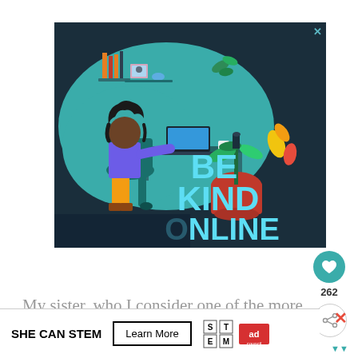[Figure (illustration): Advertisement illustration with dark teal background showing a Black woman with curly hair sitting at a teal desk working on a laptop. Behind her are bookshelves with colorful books, a framed photo, a small plant, and a blue ceramic piece. To the right is a large orange/red pot plant, teal candle, and yellow/red abstract splashes. Large text reads 'BE KIND ONLINE' in light teal bold letters. An X close button is in the top right corner.]
My sister, who I consider one of the more stylish women in this world, has been wearing
[Figure (infographic): Bottom advertisement banner: 'SHE CAN STEM' in bold black text, followed by a 'Learn More' button with border, then STEM logo grid and Ad Council logo. An X close button appears to the right with decorative icon below.]